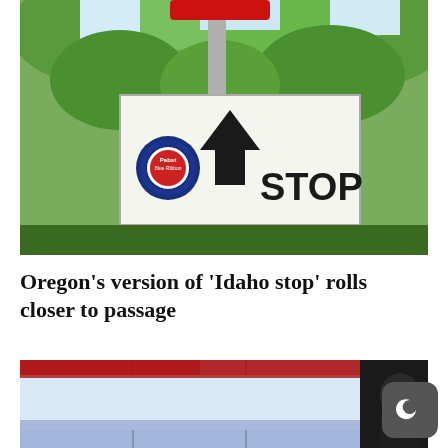[Figure (photo): Photo of a stop sign pole with a white handmade sign below it featuring an upward arrow, the word STOP written in block letters, and a Pabst Blue Ribbon beer can sticker. Green trees visible in the background.]
Oregon's version of 'Idaho stop' rolls closer to passage
[Figure (photo): Photo showing what appears to be a TV news broadcast or video wall display with a red, white and blue flag or banner visible, and a person partially visible on the right side.]